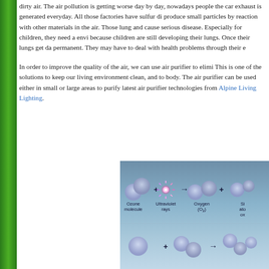dirty air. The air pollution is getting worse day by day, nowadays people the car exhaust is generated everyday. All those factories have sulfur di produce small particles by reaction with other materials in the air. Those lung and cause serious disease. Especially for children, they need a envi because children are still developing their lungs. Once their lungs get da permanent. They may have to deal with health problems through their e
In order to improve the quality of the air, we can use air purifier to elimi This is one of the solutions to keep our living environment clean, and to body. The air purifier can be used either in small or large areas to purify latest air purifier technologies from Alpine Living Lighting.
[Figure (illustration): Diagram showing ozone molecule reacting with ultraviolet rays to produce oxygen (O2) and another product. Shows molecular structures with labels: Ozone molecule, Ultraviolet rays, Oxygen (O2), and partially visible additional product. A second row of molecules is shown at the bottom.]